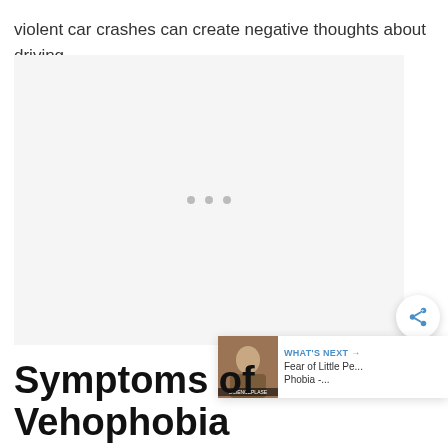violent car crashes can create negative thoughts about driving.
[Figure (photo): A placeholder image area with three small dots indicating a loading or embedded media block, set against a light gray background.]
Symptoms of Vehophobia